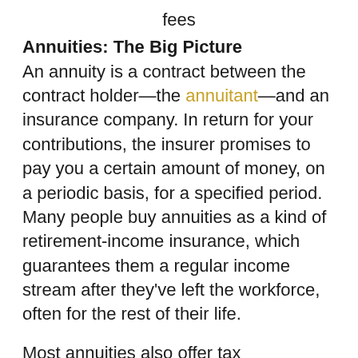fees
Annuities: The Big Picture
An annuity is a contract between the contract holder—the annuitant—and an insurance company. In return for your contributions, the insurer promises to pay you a certain amount of money, on a periodic basis, for a specified period. Many people buy annuities as a kind of retirement-income insurance, which guarantees them a regular income stream after they've left the workforce, often for the rest of their life.
Most annuities also offer tax advantages. The investment earnings grow tax-free until you begin to withdraw income. This feature can be attractive to retirement savers, who can contribute to a deferred annuity for many years